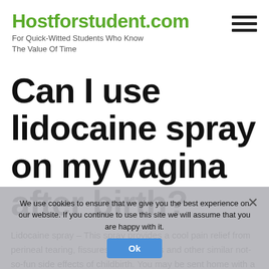Hostforstudent.com — For Quick-Witted Students Who Know The Value Of Time
Can I use lidocaine spray on my vagina after birth?
Lidocaine spray – This spray provides a cool pain relief from perineal tearing, fissures, hemorrhoids and other similar not-so-fun side effects of childbirth. You may be sent home with a bottle, but having a spare can be a lifesaver if you
We use cookies to ensure that we give you the best experience on our website. If you continue to use this site we will assume that you are happy with it. Ok